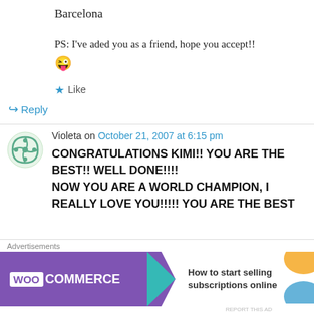Barcelona
PS: I've aded you as a friend, hope you accept!! 😜
★ Like
↪ Reply
Violeta on October 21, 2007 at 6:15 pm
CONGRATULATIONS KIMI!! YOU ARE THE BEST!! WELL DONE!!!! NOW YOU ARE A WORLD CHAMPION, I REALLY LOVE YOU!!!!! YOU ARE THE BEST
Advertisements
[Figure (screenshot): WooCommerce advertisement banner: 'How to start selling subscriptions online']